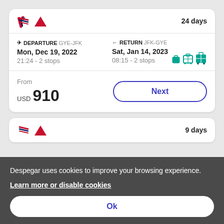[Figure (logo): British Airways and Delta airline logos with '24 days' label]
→ DEPARTURE GYE-JFK
Mon, Dec 19, 2022
21:24 - 2 stops
← RETURN JFK-GYE
Sat, Jan 14, 2023
08:15 - 2 stops
From
USD 910
Next
[Figure (logo): British Airways and Delta airline logos with '9 days' label]
Despegar uses cookies to improve your browsing experience.
Learn more or disable cookies
Ok